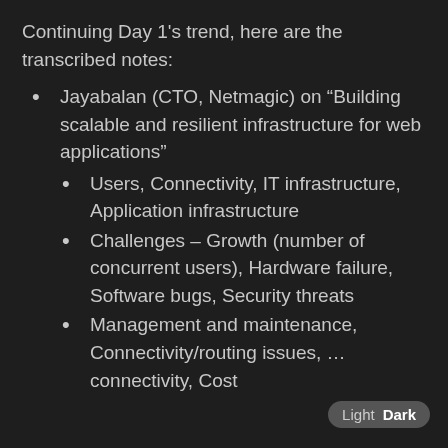Continuing Day 1’s trend, here are the transcribed notes:
Jayabalan (CTO, Netmagic) on “Building scalable and resilient infrastructure for web applications”
Users, Connectivity, IT infrastructure, Application infrastructure
Challenges – Growth (number of concurrent users), Hardware failure, Software bugs, Security threats
Management and maintenance, Connectivity/routing issues, ... connectivity, Cost